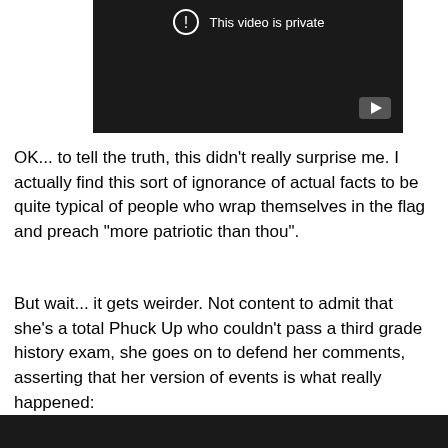[Figure (screenshot): A dark/black video player thumbnail showing a private video. There is a circle with an exclamation mark icon and the text 'This video is private' in the upper area, and a YouTube play button icon in the lower right corner.]
OK... to tell the truth, this didn't really surprise me. I actually find this sort of ignorance of actual facts to be quite typical of people who wrap themselves in the flag and preach "more patriotic than thou".
But wait... it gets weirder. Not content to admit that she's a total Phuck Up who couldn't pass a third grade history exam, she goes on to defend her comments, asserting that her version of events is what really happened:
[Figure (screenshot): Another dark/black video player thumbnail, partially visible at the bottom of the page.]